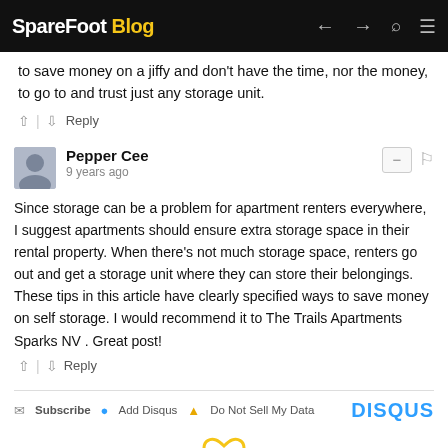SpareFoot Blog
to save money on a jiffy and don't have the time, nor the money, to go to and trust just any storage unit.
↑ | ↓   Reply
Pepper Cee
9 years ago
Since storage can be a problem for apartment renters everywhere, I suggest apartments should ensure extra storage space in their rental property. When there's not much storage space, renters go out and get a storage unit where they can store their belongings. These tips in this article have clearly specified ways to save money on self storage. I would recommend it to The Trails Apartments Sparks NV . Great post!
↑ | ↓   Reply
Subscribe   Add Disqus   Do Not Sell My Data   DISQUS